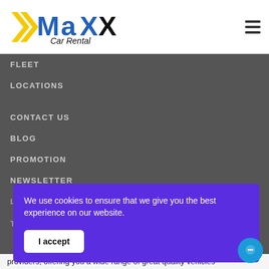[Figure (logo): Maxx Car Rental logo with yellow chevrons and blue/black text]
FLEET
LOCATIONS
CONTACT US
BLOG
PROMOTION
NEWSLETTER
We use cookies to ensure that we give you the best experience on our website.
I accept
providers, offering you a wide range of great quality vehicles